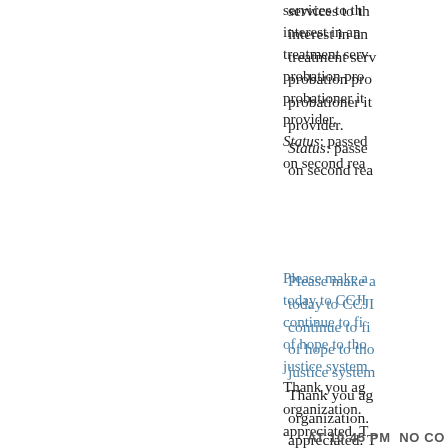services to th... interest in an... treatment serv... probation pro... probationer it... provider. Status: passed on second rea...
Please make a... today to CCJI... continue to fi... of hope to tho... justice system... Thank you ag... organization.... appreciated. T... work that trul...
Christie Donn... Pamela Clifto... Ellen Toomey... Coordinator... John Riley, C...
AT 10:45 PM  NO CO...